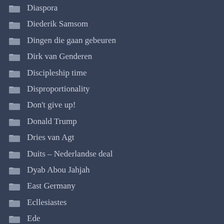Diaspora
Diederik Samsom
Dingen die gaan gebeuren
Dirk van Genderen
Discipleship time
Disproportionality
Don't give up!
Donald Trump
Dries van Agt
Duits – Nederlandse deal
Dyab Abou Jahjah
East Germany
Ecllesiastes
Ede